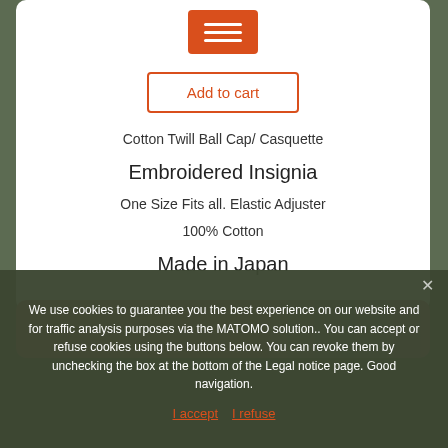[Figure (other): Orange hamburger menu navigation button]
Add to cart
Cotton Twill Ball Cap/ Casquette
Embroidered Insignia
One Size Fits all. Elastic Adjuster
100% Cotton
Made in Japan
[Figure (photo): Partial view of a colorful textile product]
We use cookies to guarantee you the best experience on our website and for traffic analysis purposes via the MATOMO solution.. You can accept or refuse cookies using the buttons below. You can revoke them by unchecking the box at the bottom of the Legal notice page. Good navigation.
I accept   I refuse